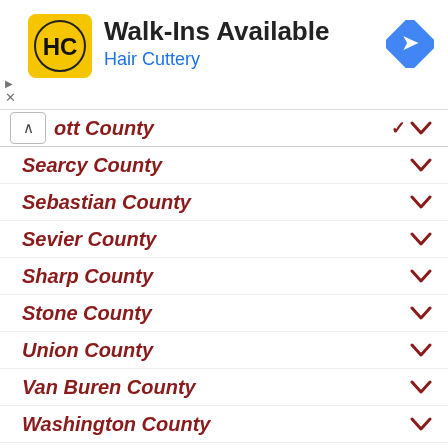[Figure (logo): Hair Cuttery advertisement banner with yellow HC logo, 'Walk-Ins Available' heading, 'Hair Cuttery' subtitle in blue, and a blue direction arrow icon]
ott County (expanded/collapsed)
Searcy County
Sebastian County
Sevier County
Sharp County
Stone County
Union County
Van Buren County
Washington County
White County